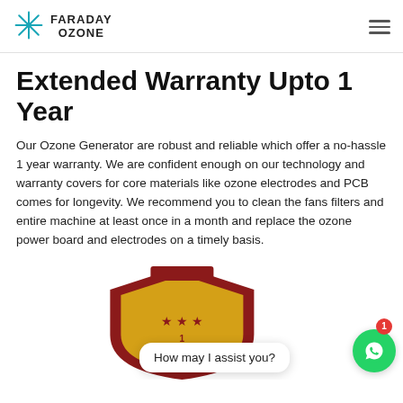Faraday Ozone
Extended Warranty Upto 1 Year
Our Ozone Generator are robust and reliable which offer a no-hassle 1 year warranty. We are confident enough on our technology and warranty covers for core materials like ozone electrodes and PCB comes for longevity. We recommend you to clean the fans filters and entire machine at least once in a month and replace the ozone power board and electrodes on a timely basis.
[Figure (illustration): Warranty shield badge with stars and '1 YEAR WARRANTY' text, partially cropped at bottom. Overlaid chat bubble reading 'How may I assist you?' and WhatsApp button with badge showing '1'.]